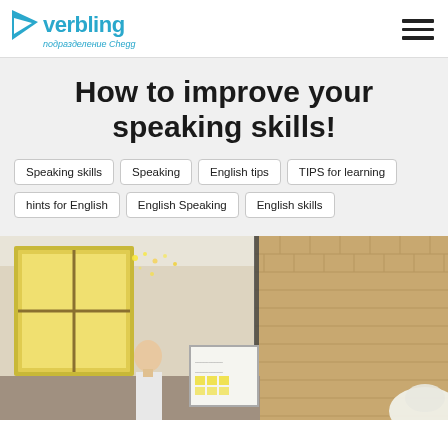verbling подразделение Chegg
How to improve your speaking skills!
Speaking skills
Speaking
English tips
TIPS for learning
hints for English
English Speaking
English skills
[Figure (photo): A person standing in front of a whiteboard with sticky notes in a room with brick walls and wooden-framed windows.]